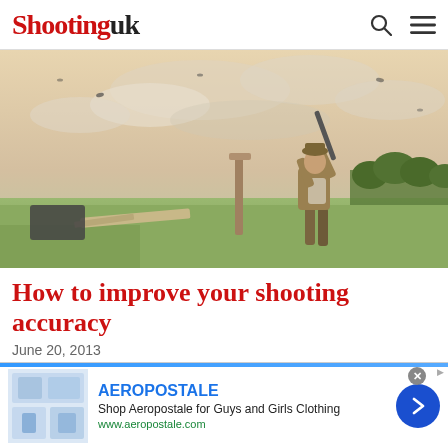ShootingUK
[Figure (photo): Person shooting a shotgun in an open field with dramatic cloudy sky, trees in background, standing next to a wooden post]
How to improve your shooting accuracy
June 20, 2013
How to improve your shooting accuracy: How can you
[Figure (other): Aeropostale advertisement banner — Shop Aeropostale for Guys and Girls Clothing — www.aeropostale.com]